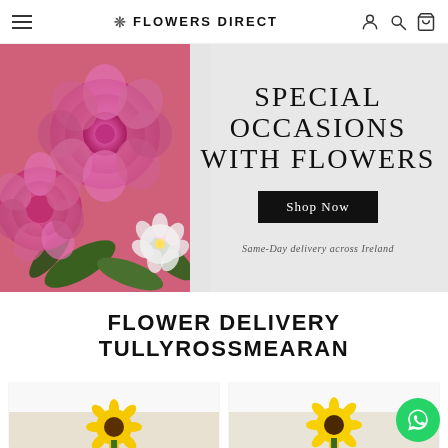≡  ❊ FLOWERS DIRECT  (account) (search) (cart)
[Figure (photo): Hero banner showing pink roses bouquet on the left and text 'SPECIAL OCCASIONS WITH FLOWERS' with a 'Shop Now' button and 'Same-Day delivery across Ireland' subtext on a light grey background]
FLOWER DELIVERY TULLYROSSMEARAN
[Figure (photo): Two product thumbnail images showing yellow sunflower arrangements]